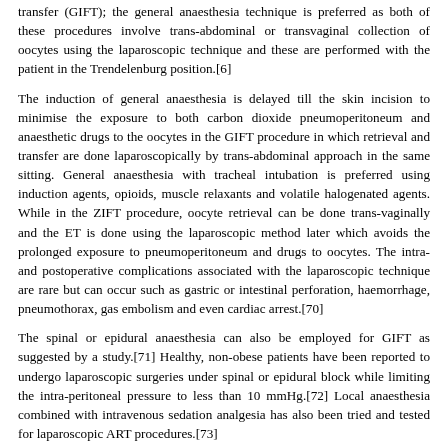transfer (GIFT); the general anaesthesia technique is preferred as both of these procedures involve trans-abdominal or transvaginal collection of oocytes using the laparoscopic technique and these are performed with the patient in the Trendelenburg position.[6]
The induction of general anaesthesia is delayed till the skin incision to minimise the exposure to both carbon dioxide pneumoperitoneum and anaesthetic drugs to the oocytes in the GIFT procedure in which retrieval and transfer are done laparoscopically by trans-abdominal approach in the same sitting. General anaesthesia with tracheal intubation is preferred using induction agents, opioids, muscle relaxants and volatile halogenated agents. While in the ZIFT procedure, oocyte retrieval can be done trans-vaginally and the ET is done using the laparoscopic method later which avoids the prolonged exposure to pneumoperitoneum and drugs to oocytes. The intra- and postoperative complications associated with the laparoscopic technique are rare but can occur such as gastric or intestinal perforation, haemorrhage, pneumothorax, gas embolism and even cardiac arrest.[70]
The spinal or epidural anaesthesia can also be employed for GIFT as suggested by a study.[71] Healthy, non-obese patients have been reported to undergo laparoscopic surgeries under spinal or epidural block while limiting the intra-peritoneal pressure to less than 10 mmHg.[72] Local anaesthesia combined with intravenous sedation analgesia has also been tried and tested for laparoscopic ART procedures.[73]
The technical improvements in the ultrasound procedures and fibreoptic techniques in the form of mini-laparoscopic procedures for oocyte retrieval and